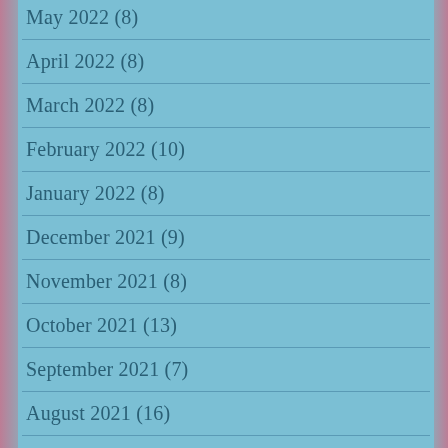May 2022 (8)
April 2022 (8)
March 2022 (8)
February 2022 (10)
January 2022 (8)
December 2021 (9)
November 2021 (8)
October 2021 (13)
September 2021 (7)
August 2021 (16)
July 2021 (9)
June 2021 (8)
May 2021 (16)